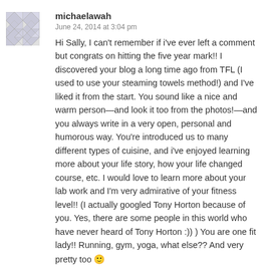[Figure (illustration): Avatar/profile picture with a grey and white diamond/quilt pattern placeholder image]
michaelawah
June 24, 2014 at 3:04 pm
Hi Sally, I can't remember if i've ever left a comment but congrats on hitting the five year mark!! I discovered your blog a long time ago from TFL (I used to use your steaming towels method!) and I've liked it from the start. You sound like a nice and warm person—and look it too from the photos!—and you always write in a very open, personal and humorous way. You're introduced us to many different types of cuisine, and i've enjoyed learning more about your life story, how your life changed course, etc. I would love to learn more about your lab work and I'm very admirative of your fitness level!! (I actually googled Tony Horton because of you. Yes, there are some people in this world who have never heard of Tony Horton :)) ) You are one fit lady!! Running, gym, yoga, what else?? And very pretty too 🙂
Anyway this is just to say, thank you and keep it up!
PS: about the yoga, i used to do yoga, sadly no more, and I